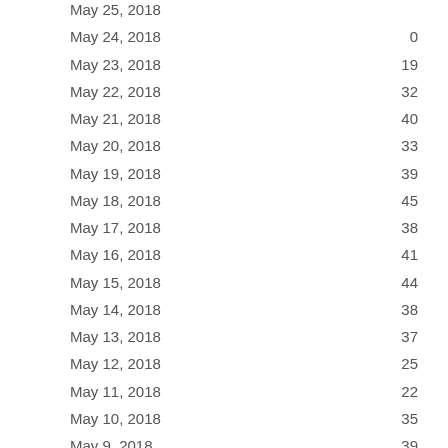| Date | Value |
| --- | --- |
| May 25, 2018 |  |
| May 24, 2018 | 0 |
| May 23, 2018 | 19 |
| May 22, 2018 | 32 |
| May 21, 2018 | 40 |
| May 20, 2018 | 33 |
| May 19, 2018 | 39 |
| May 18, 2018 | 45 |
| May 17, 2018 | 38 |
| May 16, 2018 | 41 |
| May 15, 2018 | 44 |
| May 14, 2018 | 38 |
| May 13, 2018 | 37 |
| May 12, 2018 | 25 |
| May 11, 2018 | 22 |
| May 10, 2018 | 35 |
| May 9, 2018 | 39 |
| May 8, 2018 | 37 |
| May 7, 2018 | 35 |
| May 6, 2018 | 35 |
| May 5, 2018 | 37 |
| May 4, 2018 | 19 |
| May 3, 2018 | 29 |
| May 2, 2018 | 24 |